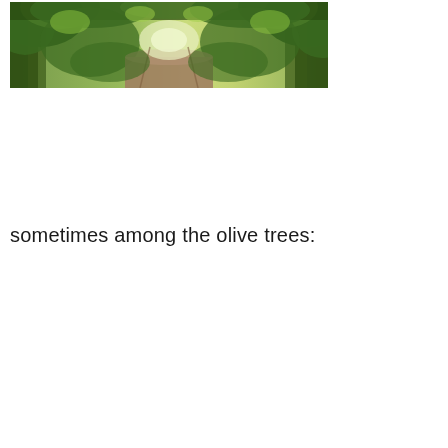[Figure (photo): A sunlit path or trail lined with dense green trees and shrubs forming a canopy overhead, appearing to be an olive grove or similar Mediterranean woodland.]
sometimes among the olive trees: